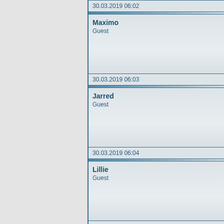30.03.2019 06:02
Maximo
Guest
30.03.2019 06:03
Jarred
Guest
30.03.2019 06:04
Lillie
Guest
30.03.2019 06:05
Rodney
Guest